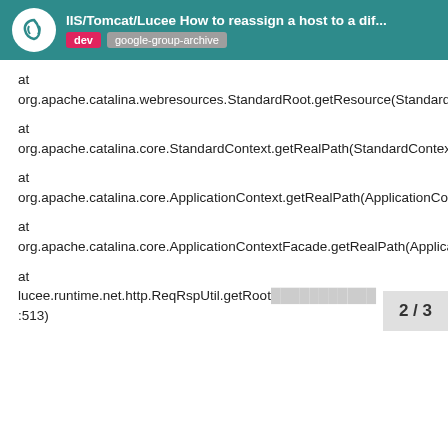IIS/Tomcat/Lucee How to reassign a host to a dif...  dev  google-group-archive
at
org.apache.catalina.webresources.StandardRoot.getResource(StandardRoot.java:206)
at
org.apache.catalina.core.StandardContext.getRealPath(StandardContext.java:4499)
at
org.apache.catalina.core.ApplicationContext.getRealPath(ApplicationContext.java:435)
at
org.apache.catalina.core.ApplicationContextFacade.getRealPath(ApplicationContextFacade.java:333)
at
lucee.runtime.net.http.ReqRspUtil.getRoot...:513)
2 / 3